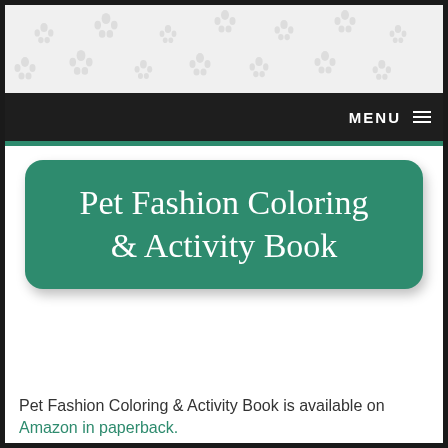[Figure (screenshot): Website header with repeating paw print watermark pattern on light gray background]
MENU ≡
Pet Fashion Coloring & Activity Book
Pet Fashion Coloring & Activity Book is available on Amazon in paperback.